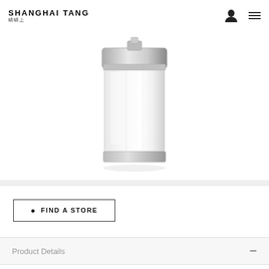SHANGHAI TANG
[Figure (photo): A glass canister or jar with a silver metallic lid and base, product photo on white background]
FIND A STORE
Product Details
In autumn, we set foot on the fabled Huangshan — the